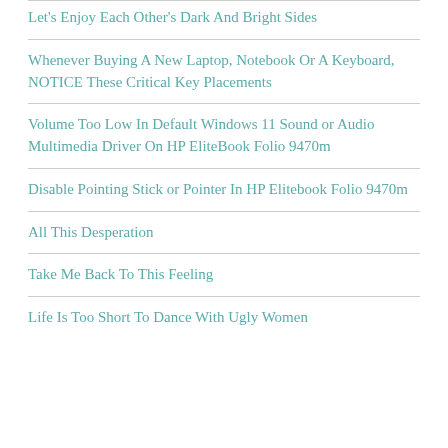Let's Enjoy Each Other's Dark And Bright Sides
Whenever Buying A New Laptop, Notebook Or A Keyboard, NOTICE These Critical Key Placements
Volume Too Low In Default Windows 11 Sound or Audio Multimedia Driver On HP EliteBook Folio 9470m
Disable Pointing Stick or Pointer In HP Elitebook Folio 9470m
All This Desperation
Take Me Back To This Feeling
Life Is Too Short To Dance With Ugly Women